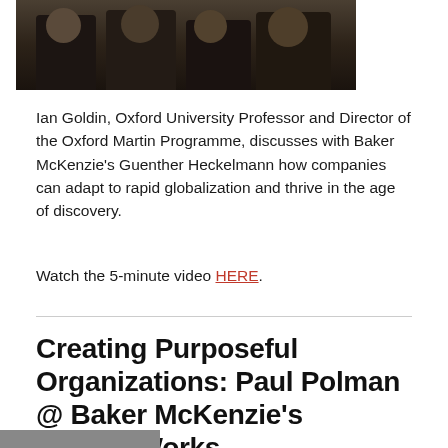[Figure (photo): Cropped photo showing several men in dark suits in what appears to be a discussion or panel setting, photo is partially cut off at top]
Ian Goldin, Oxford University Professor and Director of the Oxford Martin Programme, discusses with Baker McKenzie's Guenther Heckelmann how companies can adapt to rapid globalization and thrive in the age of discovery.
Watch the 5-minute video HERE.
Creating Purposeful Organizations: Paul Polman @ Baker McKenzie's #FutureWorks
[Figure (photo): Bottom partial image, partially visible at bottom edge of page]